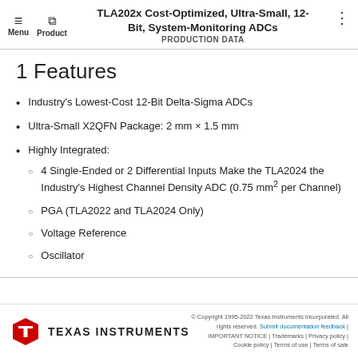TLA202x Cost-Optimized, Ultra-Small, 12-Bit, System-Monitoring ADCs | PRODUCTION DATA
1 Features
Industry's Lowest-Cost 12-Bit Delta-Sigma ADCs
Ultra-Small X2QFN Package: 2 mm × 1.5 mm
Highly Integrated:
4 Single-Ended or 2 Differential Inputs Make the TLA2024 the Industry's Highest Channel Density ADC (0.75 mm² per Channel)
PGA (TLA2022 and TLA2024 Only)
Voltage Reference
Oscillator
© Copyright 1995-2022 Texas Instruments Incorporated. All rights reserved. Submit documentation feedback | IMPORTANT NOTICE | Trademarks | Privacy policy | Cookie policy | Terms of use | Terms of sale